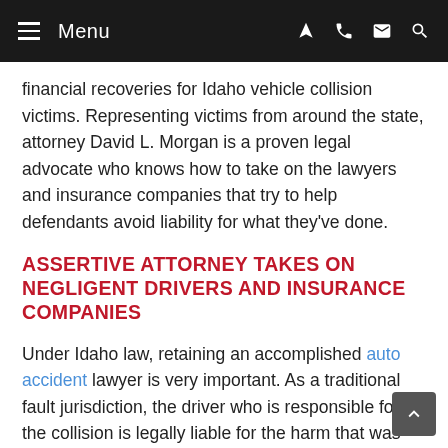Menu
financial recoveries for Idaho vehicle collision victims. Representing victims from around the state, attorney David L. Morgan is a proven legal advocate who knows how to take on the lawyers and insurance companies that try to help defendants avoid liability for what they've done.
ASSERTIVE ATTORNEY TAKES ON NEGLIGENT DRIVERS AND INSURANCE COMPANIES
Under Idaho law, retaining an accomplished auto accident lawyer is very important. As a traditional fault jurisdiction, the driver who is responsible for the collision is legally liable for the harm that was done to others. With more than 15 years of experience working for clients, we will build the strongest possible argument on your behalf and make sure that you understand each aspect of your legal case, including: